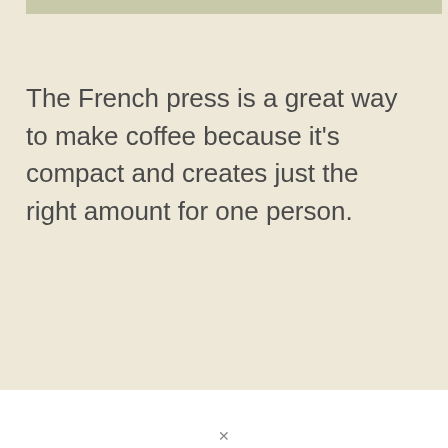The French press is a great way to make coffee because it's compact and creates just the right amount for one person.